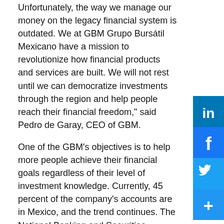Unfortunately, the way we manage our money on the legacy financial system is outdated. We at GBM Grupo Bursátil Mexicano have a mission to revolutionize how financial products and services are built. We will not rest until we can democratize investments through the region and help people reach their financial freedom," said Pedro de Garay, CEO of GBM.
One of the GBM's objectives is to help more people achieve their financial goals regardless of their level of investment knowledge. Currently, 45 percent of the company's accounts are in Mexico, and the trend continues. The National Banking and Securities Commission (CNBV) reported that Mexico reached an all-time high of 940,000 brokerages opened accounts in 2020 instead of the 298,000 brokerage accounts in Mexico in 2019. This record shows how citizens are more interested in adopting these tools into their financial lives.